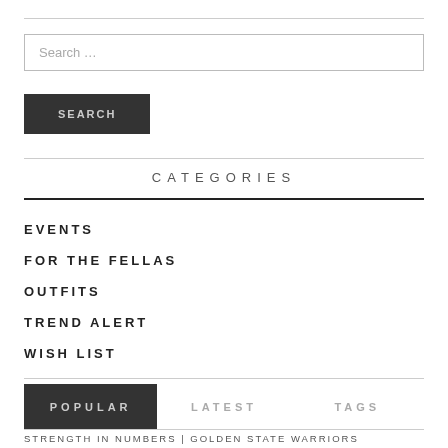Search …
SEARCH
CATEGORIES
EVENTS
FOR THE FELLAS
OUTFITS
TREND ALERT
WISH LIST
POPULAR	LATEST	TAGS
STRENGTH IN NUMBERS | GOLDEN STATE WARRIORS